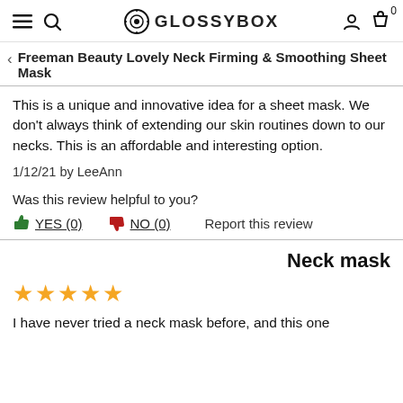GLOSSYBOX
Freeman Beauty Lovely Neck Firming & Smoothing Sheet Mask
This is a unique and innovative idea for a sheet mask. We don't always think of extending our skin routines down to our necks. This is an affordable and interesting option.
1/12/21 by LeeAnn
Was this review helpful to you?
YES (0)  NO (0)  Report this review
Neck mask
★★★★★
I have never tried a neck mask before, and this one